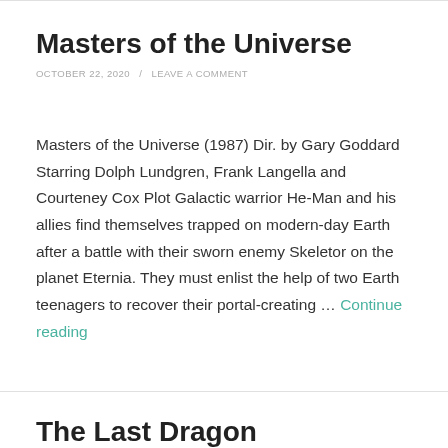Masters of the Universe
OCTOBER 22, 2020 / LEAVE A COMMENT
Masters of the Universe (1987) Dir. by Gary Goddard Starring Dolph Lundgren, Frank Langella and Courteney Cox Plot Galactic warrior He-Man and his allies find themselves trapped on modern-day Earth after a battle with their sworn enemy Skeletor on the planet Eternia. They must enlist the help of two Earth teenagers to recover their portal-creating … Continue reading
The Last Dragon